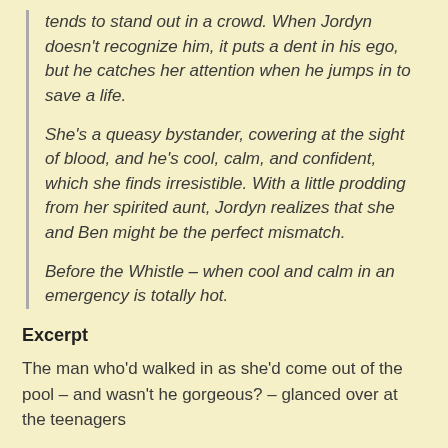tends to stand out in a crowd. When Jordyn doesn't recognize him, it puts a dent in his ego, but he catches her attention when he jumps in to save a life.
She's a queasy bystander, cowering at the sight of blood, and he's cool, calm, and confident, which she finds irresistible. With a little prodding from her spirited aunt, Jordyn realizes that she and Ben might be the perfect mismatch.
Before the Whistle – when cool and calm in an emergency is totally hot.
Excerpt
The man who'd walked in as she'd come out of the pool – and wasn't he gorgeous? – glanced over at the teenagers